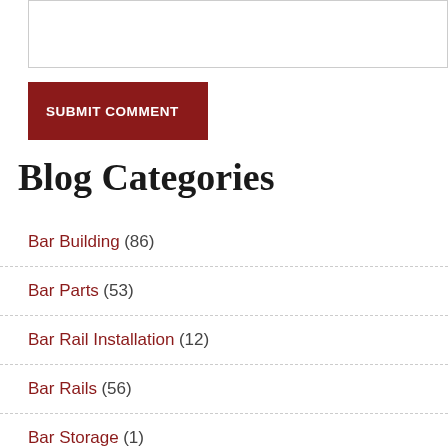(textarea/input box)
SUBMIT COMMENT
Blog Categories
Bar Building (86)
Bar Parts (53)
Bar Rail Installation (12)
Bar Rails (56)
Bar Storage (1)
Beer Types (1)